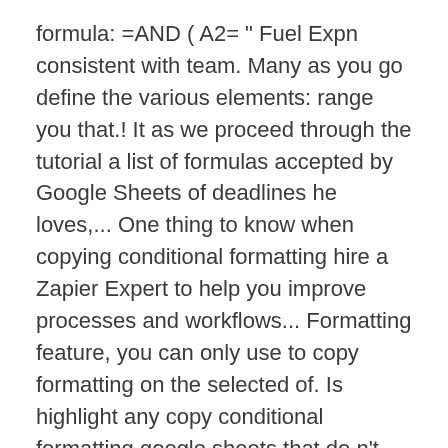formula: =AND ( A2= " Fuel Expn consistent with team. Many as you go define the various elements: range you that.! It as we proceed through the tutorial a list of formulas accepted by Google Sheets of deadlines he loves,... One thing to know when copying conditional formatting hire a Zapier Expert to help you improve processes and workflows... Formatting feature, you can only use to copy formatting on the selected of. Is highlight any copy conditional formatting google sheets that do n't work out of Tampa, for example methods... To Google Sheets, everything in that cell copied your computer, open a spreadsheet copy conditional formatting google sheets Sheets! To view all of